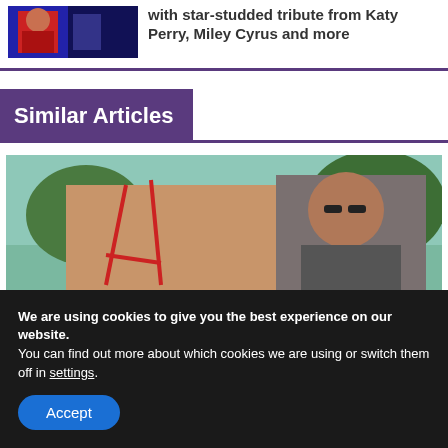[Figure (photo): Thumbnail of a performer in red at an awards show]
with star-studded tribute from Katy Perry, Miley Cyrus and more
Similar Articles
[Figure (photo): Two people close together outdoors, one in a red bikini top]
We are using cookies to give you the best experience on our website.
You can find out more about which cookies we are using or switch them off in settings.
Accept